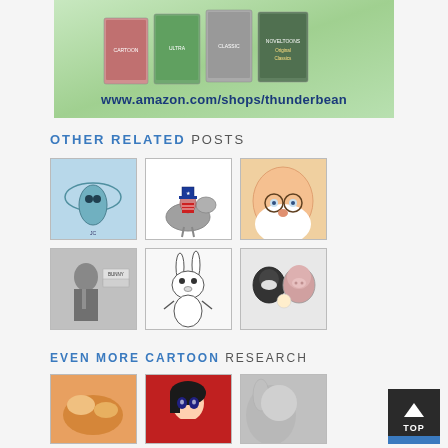[Figure (illustration): Advertisement banner for Thunderbean animation DVDs/VHS tapes showing cartoon VHS cases on green background with URL www.amazon.com/shops/thunderbean]
OTHER RELATED POSTS
[Figure (illustration): Cartoon thumbnail - alien/flying saucer cartoon sketch in blue tones]
[Figure (illustration): Cartoon thumbnail - Uncle Sam character riding a donkey]
[Figure (illustration): Cartoon thumbnail - Santa Claus character with glasses close-up]
[Figure (photo): Black and white photo thumbnail - man in suit next to Bugs Bunny sign]
[Figure (illustration): Cartoon thumbnail - Bugs Bunny black and white cartoon]
[Figure (illustration): Cartoon thumbnail - two cartoon pig/animal characters facing each other]
EVEN MORE CARTOON RESEARCH
[Figure (photo): Thumbnail - cartoon food/fruit image in color]
[Figure (illustration): Thumbnail - anime/cartoon woman in red]
[Figure (photo): Thumbnail - close up of animal/rabbit partially visible]